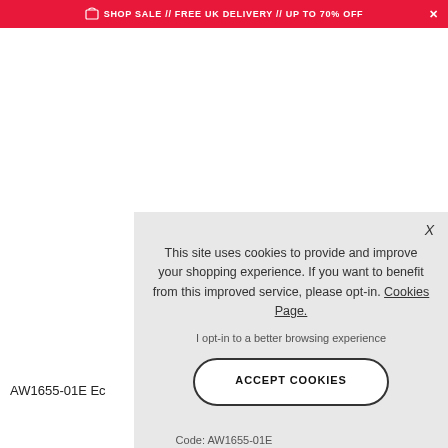SHOP SALE // FREE UK DELIVERY // UP TO 70% OFF
AW1655-01E Ec
This site uses cookies to provide and improve your shopping experience. If you want to benefit from this improved service, please opt-in. Cookies Page.
I opt-in to a better browsing experience
ACCEPT COOKIES
Code: AW1655-01E